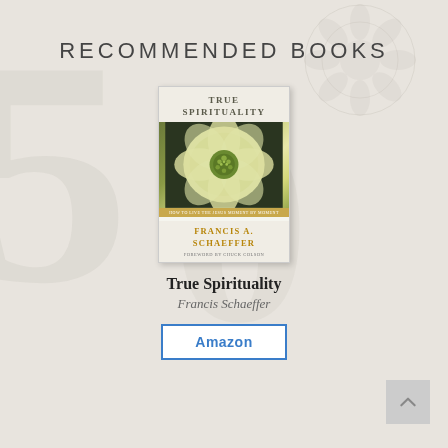RECOMMENDED BOOKS
[Figure (illustration): Book cover of 'True Spirituality' by Francis A. Schaeffer, featuring a close-up photograph of a white/green flower on the front, with gold lettering for the author name and a golden band subtitle strip]
True Spirituality
Francis Schaeffer